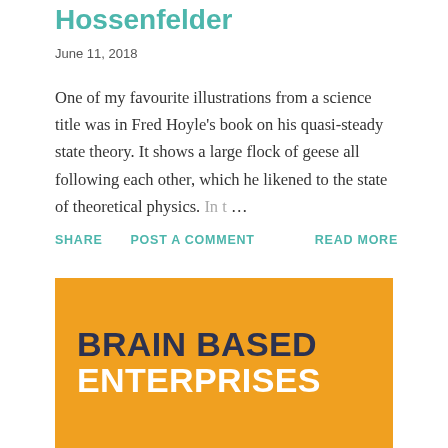Hossenfelder
June 11, 2018
One of my favourite illustrations from a science title was in Fred Hoyle's book on his quasi-steady state theory. It shows a large flock of geese all following each other, which he likened to the state of theoretical physics. In t …
SHARE   POST A COMMENT   READ MORE
[Figure (logo): Orange banner with 'BRAIN BASED ENTERPRISES' text in dark navy and white]